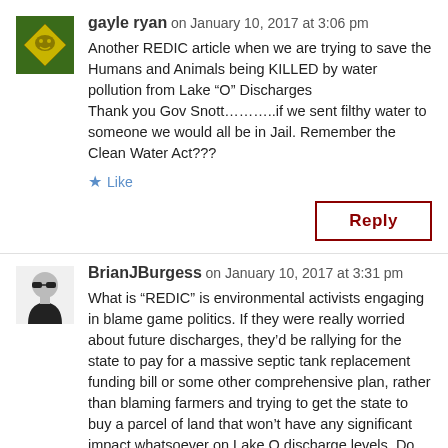gayle ryan on January 10, 2017 at 3:06 pm
Another REDIC article when we are trying to save the Humans and Animals being KILLED by water pollution from Lake “O” Discharges
Thank you Gov Snott………..if we sent filthy water to someone we would all be in Jail. Remember the Clean Water Act???
Like
Reply
BrianJBurgess on January 10, 2017 at 3:31 pm
What is “REDIC” is environmental activists engaging in blame game politics. If they were really worried about future discharges, they’d be rallying for the state to pay for a massive septic tank replacement funding bill or some other comprehensive plan, rather than blaming farmers and trying to get the state to buy a parcel of land that won’t have any significant impact whatsoever on Lake O discharge levels. Do you have any idea how many cubic